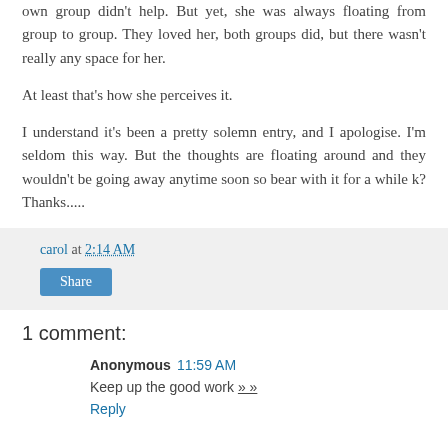own group didn't help. But yet, she was always floating from group to group. They loved her, both groups did, but there wasn't really any space for her.
At least that's how she perceives it.
I understand it's been a pretty solemn entry, and I apologise. I'm seldom this way. But the thoughts are floating around and they wouldn't be going away anytime soon so bear with it for a while k? Thanks.....
carol at 2:14 AM
Share
1 comment:
Anonymous 11:59 AM
Keep up the good work » »
Reply